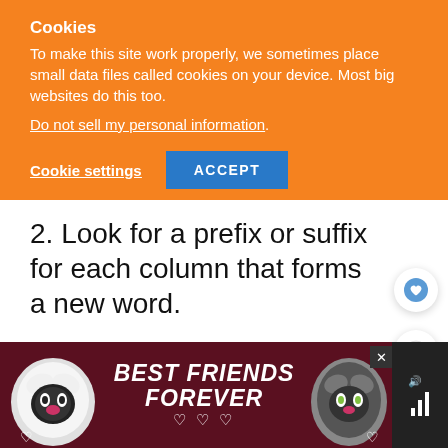Cookies
To make this site work properly, we sometimes place small data files called cookies on your device. Most big websites do this too.
Do not sell my personal information.
Cookie settings
ACCEPT
2. Look for a prefix or suffix for each column that forms a new word.
[Figure (screenshot): Heart/favorite icon button (blue circle with white heart)]
[Figure (screenshot): Share icon button (white circle with share icon)]
[Figure (screenshot): What's Next widget showing a person thumbnail and text 'Here's What Happened to...']
[Figure (photo): Advertisement banner: Best Friends Forever with two cat images on dark red/maroon background]